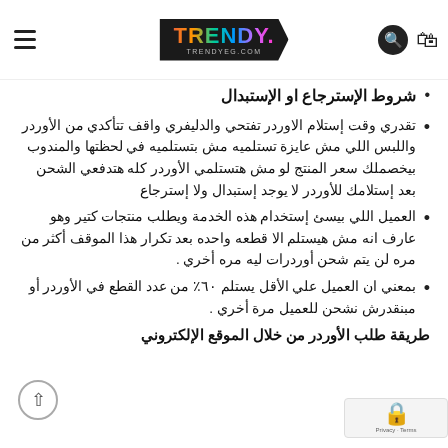TRENDY - TRENDYEG.COM
شروط الإسترجاع او الإستبدال
تقدري وقت إستلام الاوردر تفتحي والدليفري واقف تتأكدي من الأوردر واللبس اللي مش عايزة تستلميه مش بتستلميه في لحظتها والمندوب بيخصملك سعر المنتج لو مش هتستلمي الأوردر كله هتدفعي الشحن بعد إستلامك للأوردر لا يوجد إستبدال ولا إسترجاع
العميل اللي بيسئ إستخدام هذه الخدمة ويطلب منتجات كتير وهو عارف انه مش هيستلم الا قطعه واحده بعد تكرار هذا الموقف أكثر من مره لن يتم شحن أوردرات ليه مره أخري .
بمعني ان العميل علي الأقل يستلم ٦٠٪ من عدد القطع في الأوردر أو مبنقدرش نشحن للعميل مرة أخري .
طريقة طلب الأوردر من خلال الموقع الإلكتروني